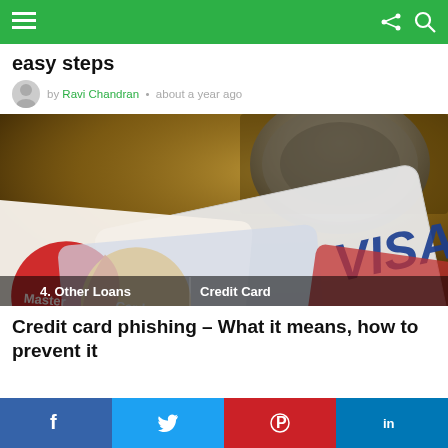Navigation bar with menu, share and search icons
easy steps
by Ravi Chandran • about a year ago
[Figure (photo): Close-up photo of credit cards including MasterCard and Visa cards on a table with a coin/cup in background. Overlay tags read: 4. Other Loans | Credit Card]
Credit card phishing – What it means, how to prevent it
Share bar with Facebook, Twitter, Pinterest, LinkedIn buttons